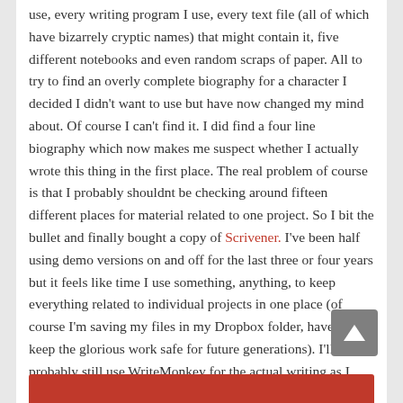use, every writing program I use, every text file (all of which have bizarrely cryptic names) that might contain it, five different notebooks and even random scraps of paper. All to try to find an overly complete biography for a character I decided I didn't want to use but have now changed my mind about. Of course I can't find it. I did find a four line biography which now makes me suspect whether I actually wrote this thing in the first place. The real problem of course is that I probably shouldnt be checking around fifteen different places for material related to one project. So I bit the bullet and finally bought a copy of Scrivener. I've been half using demo versions on and off for the last three or four years but it feels like time I use something, anything, to keep everything related to individual projects in one place (of course I'm saving my files in my Dropbox folder, have to keep the glorious work safe for future generations). I'll probably still use WriteMonkey for the actual writing as I really love its super minimalist approach. But at least now I know that organisational nirvana is only a quick copy and paste away.